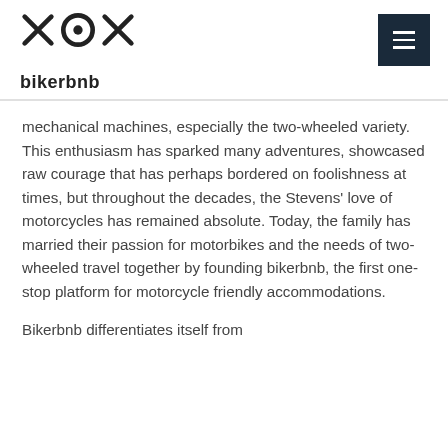[Figure (logo): bikerbnb logo with stylized motorcycle/bicycle icon above the text 'bikerbnb']
mechanical machines, especially the two-wheeled variety. This enthusiasm has sparked many adventures, showcased raw courage that has perhaps bordered on foolishness at times, but throughout the decades, the Stevens' love of motorcycles has remained absolute. Today, the family has married their passion for motorbikes and the needs of two-wheeled travel together by founding bikerbnb, the first one-stop platform for motorcycle friendly accommodations.
Bikerbnb differentiates itself from